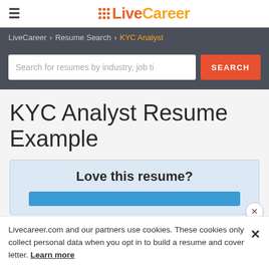LiveCareer (logo)
LiveCareer > Resume Search > KYC Analyst
Search for resumes by industry, job ti  SEARCH
KYC Analyst Resume Example
Love this resume?
Livecareer.com and our partners use cookies. These cookies only collect personal data when you opt in to build a resume and cover letter. Learn more